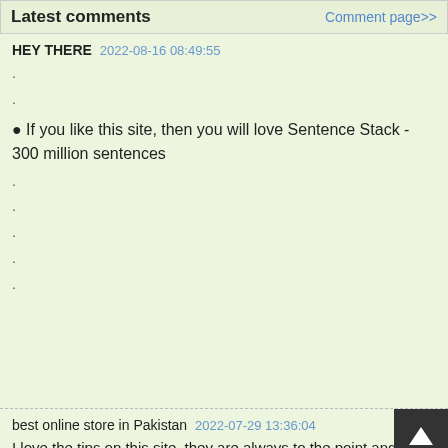Latest comments | Comment page>>
HEY THERE 2022-08-16 08:49:55
.
.
• If you like this site, then you will love Sentence Stack - 300 million sentences
.
.
.
.
.
best online store in Pakistan 2022-07-29 13:36:04
I love the tips on this site, they are always to the point and just the information I was looking for <a href="https://www.hamzastore.pk">best online store in Pakistan</a>
me 2022-07-20 08:13:50
What i don't understood is in fact how you are no longer really much